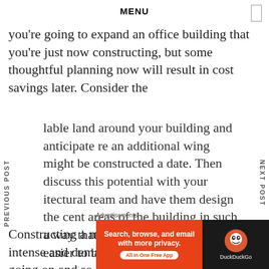MENU
you're going to expand an office building that you're just now constructing, but some thoughtful planning now will result in cost savings later. Consider the lable land around your building and anticipate re an additional wing might be constructed a date. Then discuss this potential with your itectural team and have them design the cent areas of the building in such a way that re expansion will be easier to build.
Constructing a new office building is an intense and demanding process. With so much going on and so
Advertisements
[Figure (screenshot): DuckDuckGo advertisement banner: orange left section with text 'Search, browse, and email with more privacy. All in One Free App' and dark right section with DuckDuckGo logo and name.]